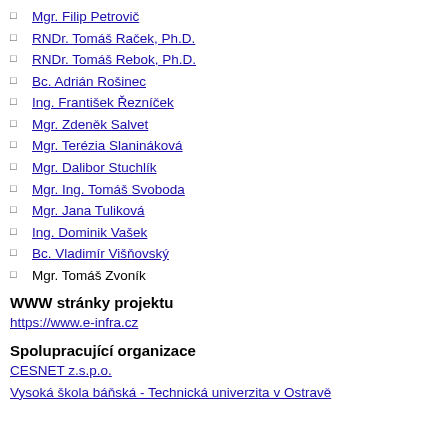Mgr. Filip Petrovič
RNDr. Tomáš Raček, Ph.D.
RNDr. Tomáš Rebok, Ph.D.
Bc. Adrián Rošinec
Ing. František Řezníček
Mgr. Zdeněk Salvet
Mgr. Terézia Slanináková
Mgr. Dalibor Stuchlík
Mgr. Ing. Tomáš Svoboda
Mgr. Jana Tuliková
Ing. Dominik Vašek
Bc. Vladimír Višňovský
Mgr. Tomáš Zvoník
WWW stránky projektu
https://www.e-infra.cz
Spolupracující organizace
CESNET z.s.p.o.
Vysoká škola báňská - Technická univerzita v Ostravě